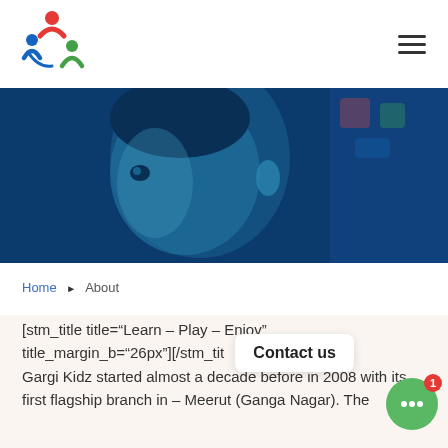[Figure (logo): Gargi Kidz colorful logo with stylized figures in red, blue, and green]
[Figure (photo): Close-up side profile of a young child with a blue tint overlay, educational setting background]
Home ▶ About
[stm_title title="Learn – Play – Eniov" title_margin_b="26px"][/stm_tit Gargi Kidz started almost a decade before in 2008 with its first flagship branch in – Meerut (Ganga Nagar). The
[Figure (other): Contact us chat bubble overlay with green chat button and red badge showing 1]